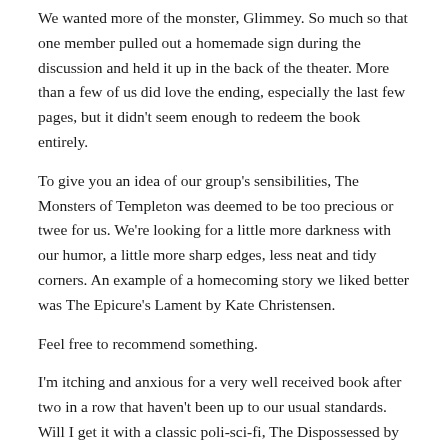We wanted more of the monster, Glimmey. So much so that one member pulled out a homemade sign during the discussion and held it up in the back of the theater. More than a few of us did love the ending, especially the last few pages, but it didn't seem enough to redeem the book entirely.
To give you an idea of our group's sensibilities, The Monsters of Templeton was deemed to be too precious or twee for us. We're looking for a little more darkness with our humor, a little more sharp edges, less neat and tidy corners. An example of a homecoming story we liked better was The Epicure's Lament by Kate Christensen.
Feel free to recommend something.
I'm itching and anxious for a very well received book after two in a row that haven't been up to our usual standards. Will I get it with a classic poli-sci-fi, The Dispossessed by Ursula K. LeGuin? Check back here next month to find out.
Join our Facebook group
Jeff Kamin – Moderator, Books & Bars